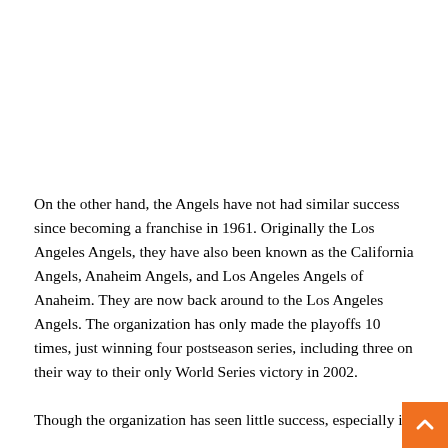On the other hand, the Angels have not had similar success since becoming a franchise in 1961. Originally the Los Angeles Angels, they have also been known as the California Angels, Anaheim Angels, and Los Angeles Angels of Anaheim. They are now back around to the Los Angeles Angels. The organization has only made the playoffs 10 times, just winning four postseason series, including three on their way to their only World Series victory in 2002.
Though the organization has seen little success, especially in